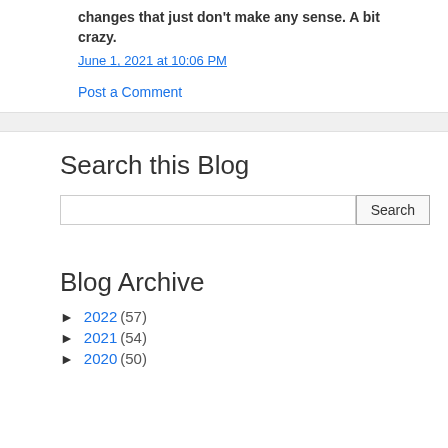changes that just don't make any sense. A bit crazy.
June 1, 2021 at 10:06 PM
Post a Comment
Search this Blog
Blog Archive
► 2022 (57)
► 2021 (54)
► 2020 (50)